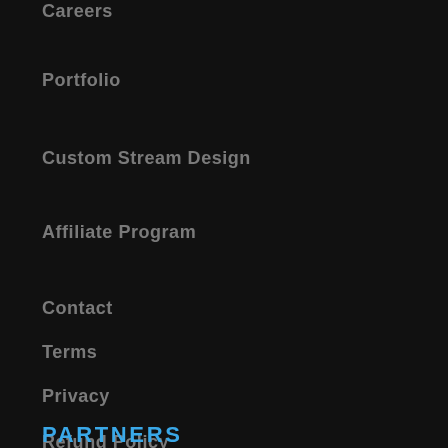Careers
Portfolio
Custom Stream Design
Affiliate Program
Contact
Terms
Privacy
Refund Policy
PARTNERS